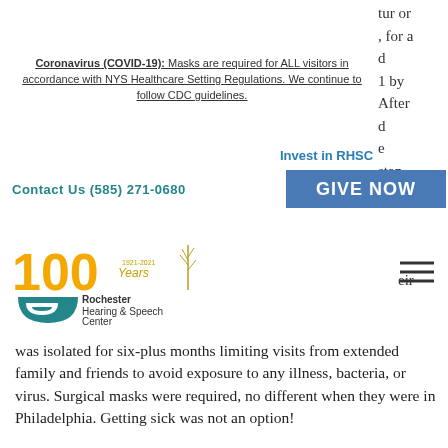tur or, , for a d 1 by After d e stan
Coronavirus (COVID-19): Masks are required for ALL visitors in accordance with NYS Healthcare Setting Regulations. We continue to follow CDC guidelines.
Invest in RHSC
Contact Us (585) 271-0680
GIVE NOW
[Figure (logo): Rochester Hearing & Speech Center 100 Years logo]
eir
was isolated for six-plus months limiting visits from extended family and friends to avoid exposure to any illness, bacteria, or virus. Surgical masks were required, no different when they were in Philadelphia. Getting sick was not an option!
At 18 months, Tristan still wasn’t even close to talking. He didn’t seem to understand the simplest of commands. He wasn’t able to do